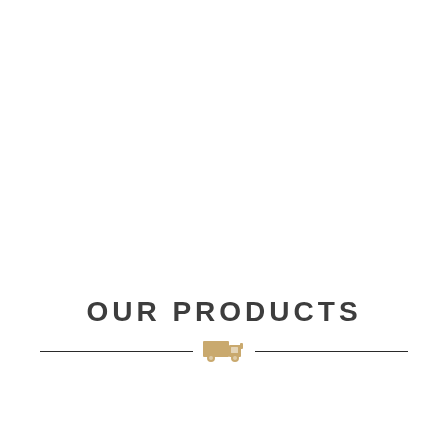OUR PRODUCTS
[Figure (illustration): A decorative horizontal divider with a golden delivery truck icon in the center, flanked by two thin horizontal lines]